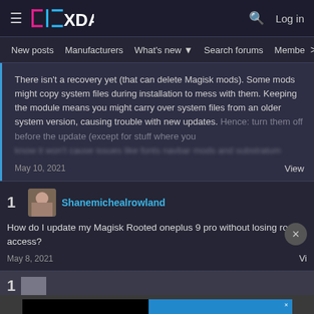[Figure (logo): XDA Developers logo with hamburger menu, search icon, and Log in button on dark header]
New posts  Manufacturers  What's new  Search forums  Members
There isn't a recovery yet (that can delete Magisk mods). Some mods might copy system files during installation to mess with them. Keeping the module means you might carry over system files from an older system version, causing trouble with new updates. Hence: turn them off before the update (except for stuff where you know it won't cause issues, like fonts, navbar mods, and substratum)
May 10, 2021
View
1
Shanemichealrowland
How do I update my Magisk Rooted oneplus 9 pro without losing root access?
May 8, 2021
View
[Figure (infographic): Disney Bundle advertisement banner with Hulu, Disney+, ESPN+ logos and GET THE DISNEY BUNDLE call to action]